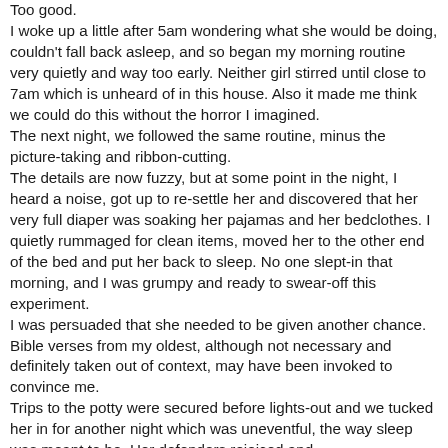Too good. I woke up a little after 5am wondering what she would be doing, couldn't fall back asleep, and so began my morning routine very quietly and way too early. Neither girl stirred until close to 7am which is unheard of in this house. Also it made me think we could do this without the horror I imagined. The next night, we followed the same routine, minus the picture-taking and ribbon-cutting. The details are now fuzzy, but at some point in the night, I heard a noise, got up to re-settle her and discovered that her very full diaper was soaking her pajamas and her bedclothes. I quietly rummaged for clean items, moved her to the other end of the bed and put her back to sleep. No one slept-in that morning, and I was grumpy and ready to swear-off this experiment. I was persuaded that she needed to be given another chance. Bible verses from my oldest, although not necessary and definitely taken out of context, may have been invoked to convince me. Trips to the potty were secured before lights-out and we tucked her in for another night which was uneventful, the way sleep was meant to be. Her defenders rejoiced and in their joy, made their case about the next step.